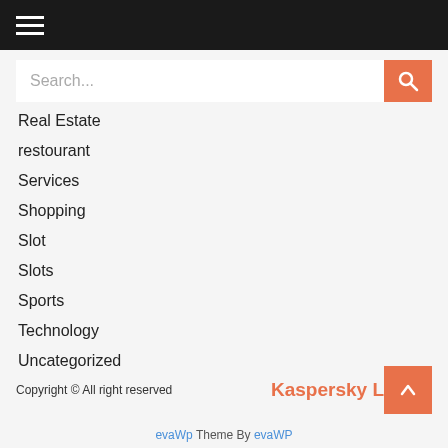Navigation menu bar with hamburger icon
Search...
Real Estate
restourant
Services
Shopping
Slot
Slots
Sports
Technology
Uncategorized
Copyright © All right reserved   Kaspersky L   evaWp Theme By evaWP